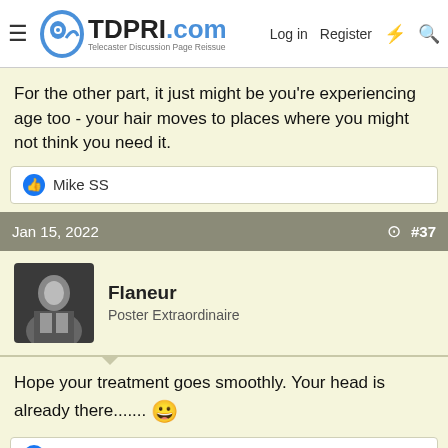TDPRI.com - Telecaster Discussion Page Reissue | Log in | Register
For the other part, it just might be you're experiencing age too - your hair moves to places where you might not think you need it.
👍 Mike SS
Jan 15, 2022  #37
Flaneur
Poster Extraordinaire
Hope your treatment goes smoothly. Your head is already there....... 😀
👍 Mike SS
Jan 16, 2022  #38
gpw5150
Tele-Meister